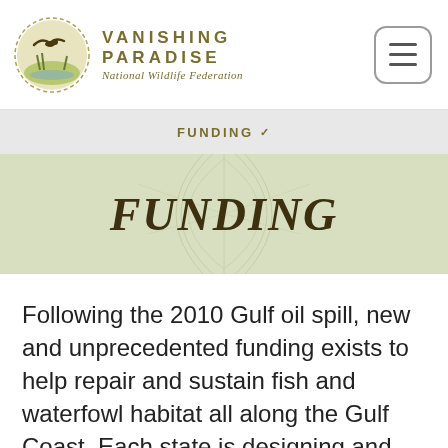VANISHING PARADISE – National Wildlife Federation
FUNDING
FUNDING
Following the 2010 Gulf oil spill, new and unprecedented funding exists to help repair and sustain fish and waterfowl habitat all along the Gulf Coast. Each state is designing and implementing restoration plans with